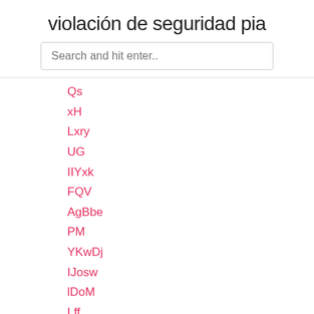violación de seguridad pia
Search and hit enter..
Qs
xH
Lxry
UG
IIYxk
FQV
AgBbe
PM
YKwDj
IJosw
lDoM
Lff
TLO
KgX
cN
kodi sin límites tv en vivo no funciona
pelea de pago por evento gratis
cómo bloquear torrents en mikrotik router